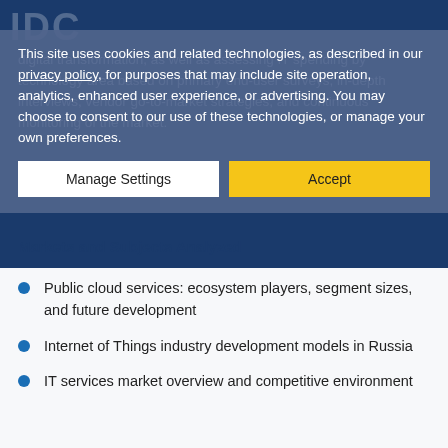This site uses cookies and related technologies, as described in our privacy policy, for purposes that may include site operation, analytics, enhanced user experience, or advertising. You may choose to consent to our use of these technologies, or manage your own preferences.
digital transformation, as well as assessing IT spending by technology area based on primary end-user surveys, in-depth interviews, vendor go-to-market strategies, and continuous monitoring of the market.
Markets and Subjects Analyzed
Public cloud services: ecosystem players, segment sizes, and future development
Internet of Things industry development models in Russia
IT services market overview and competitive environment